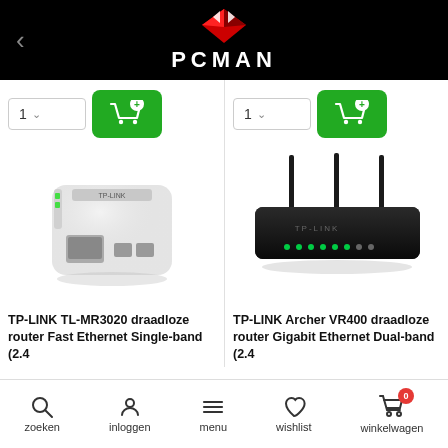[Figure (logo): PCMAN logo with red diamond shape and white PCMAN text on black background]
[Figure (photo): TP-LINK TL-MR3020 small portable wireless router, white/grey color with ethernet and USB ports]
[Figure (photo): TP-LINK Archer VR400 wireless router, black with three antennas]
TP-LINK TL-MR3020 draadloze router Fast Ethernet Single-band (2.4
TP-LINK Archer VR400 draadloze router Gigabit Ethernet Dual-band (2.4
zoeken  inloggen  menu  wishlist  winkelwagen  0